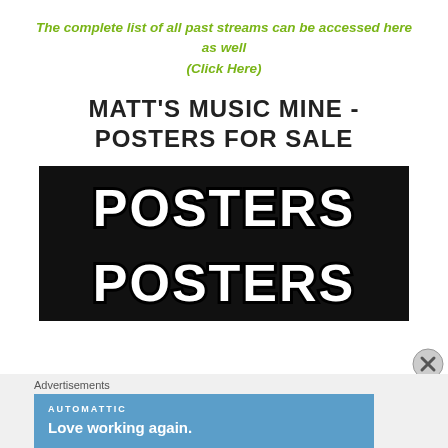The complete list of all past streams can be accessed here as well
(Click Here)
MATT'S MUSIC MINE - POSTERS FOR SALE
[Figure (illustration): Black background image with the word POSTERS written twice in large white outlined bold bubble letters, one line on top and one on bottom]
Advertisements
[Figure (screenshot): Blue advertisement box for Automattic with the text 'Love working again.']